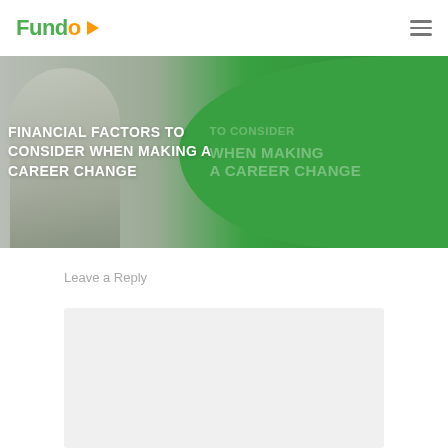Fundo
[Figure (photo): Hero banner image showing a man celebrating with arms raised, overlaid with text 'Financial Factors to Consider When Making a Career Change' on a green and grey background with decorative text in the background]
FINANCIAL FACTORS TO CONSIDER WHEN MAKING A CAREER CHANGE
Leave a Reply
[Figure (screenshot): Light grey comment/reply text input box area]